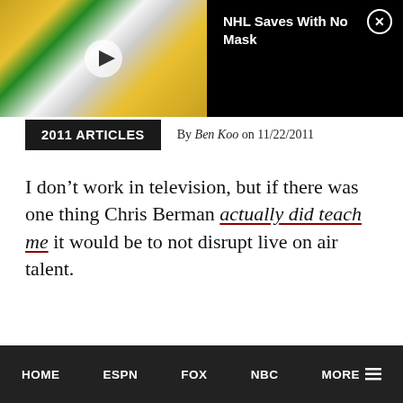[Figure (screenshot): Video thumbnail showing NHL hockey game with players in yellow and green uniforms near a goal, with a play button overlay. Black banner to the right with text 'NHL Saves With No Mask' and a close (X) button.]
2011 ARTICLES
By Ben Koo on 11/22/2011
I don't work in television, but if there was one thing Chris Berman actually did teach me it would be to not disrupt live on air talent.
HOME   ESPN   FOX   NBC   MORE